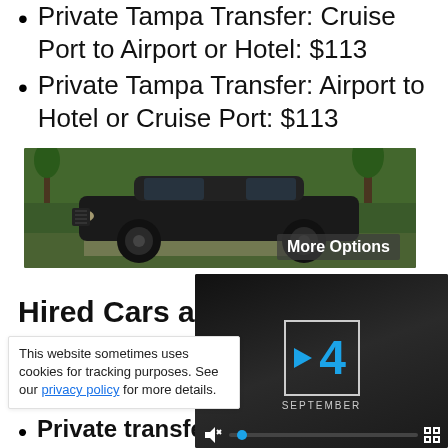Private Tampa Transfer: Cruise Port to Airport or Hotel: $113
Private Tampa Transfer: Airport to Hotel or Cruise Port: $113
[Figure (photo): Black luxury SUV/sedan parked on a driveway with tropical greenery in the background. Overlay text reads 'More Options'.]
Hired Cars and
This website sometimes uses cookies for tracking purposes. See our privacy policy for more details.
[Figure (screenshot): Video player overlay showing 'This Day In History' with the number 4 in blue and 'September' label, play button, mute icon, progress bar with blue dot, and fullscreen icon.]
Private transfer from...